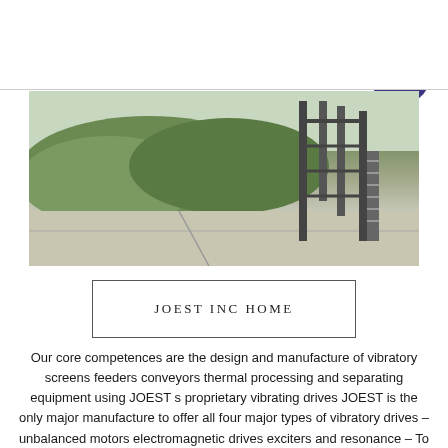[Figure (logo): SBM Shibang Group logo with blue letters and yellow arc]
[Figure (other): Orange hamburger menu button with three white horizontal bars]
[Figure (photo): Industrial site with green aggregate piles and a large steel structure/conveyor tower]
[Figure (other): Live Chat speech bubble icon in teal/purple]
JOEST INC HOME
Our core competences are the design and manufacture of vibratory screens feeders conveyors thermal processing and separating equipment using JOEST s proprietary vibrating drives JOEST is the only major manufacture to offer all four major types of vibratory drives – unbalanced motors electromagnetic drives exciters and resonance – To